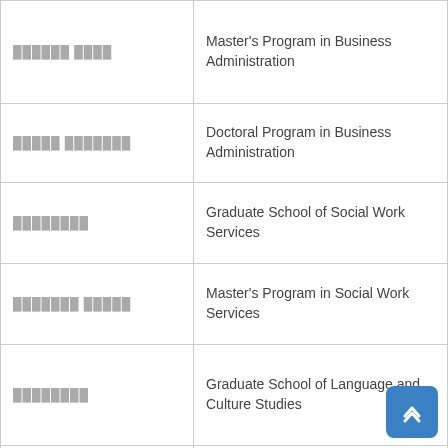| Japanese | English |
| --- | --- |
| ██████ ████ | Master's Program in Business Administration |
| █████ ███████ | Doctoral Program in Business Administration |
| ████████ | Graduate School of Social Work Services |
| ███████ █████ | Master's Program in Social Work Services |
| ████████ | Graduate School of Language and Culture Studies |
| █████████ █████ | Master's Program in English and English Language Education |
| ██████████ █████ | Master's Program in Japanese and Japanese Language Education |
| ██████████ █████ | Master's Program in Chinese and Korean Language and Culture Studies |